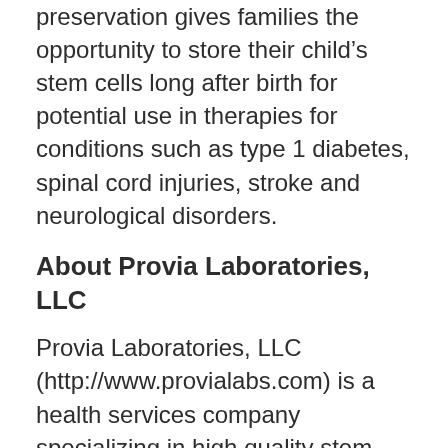preservation gives families the opportunity to store their child's stem cells long after birth for potential use in therapies for conditions such as type 1 diabetes, spinal cord injuries, stroke and neurological disorders.
About Provia Laboratories, LLC
Provia Laboratories, LLC (http://www.provialabs.com) is a health services company specializing in high quality stem cell biobanking (the collection, transport, processing, and cryogenic storage of biological specimens). Its dental stem cell banking service, Store-A-Tooth™, gives parents the option to store stem cells today to protect their children's health